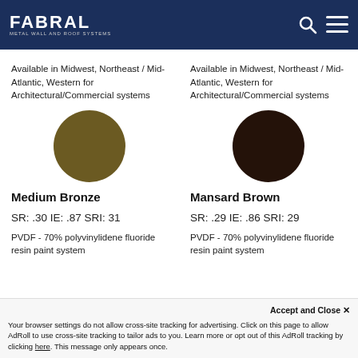FABRAL METAL WALL AND ROOF SYSTEMS
Available in Midwest, Northeast / Mid-Atlantic, Western for Architectural/Commercial systems
Available in Midwest, Northeast / Mid-Atlantic, Western for Architectural/Commercial systems
[Figure (illustration): Color swatch circle for Medium Bronze — a dark olive/brown color]
[Figure (illustration): Color swatch circle for Mansard Brown — a very dark brown color]
Medium Bronze
Mansard Brown
SR: .30 IE: .87 SRI: 31
SR: .29 IE: .86 SRI: 29
PVDF - 70% polyvinylidene fluoride resin paint system
PVDF - 70% polyvinylidene fluoride resin paint system
Accept and Close ✕ Your browser settings do not allow cross-site tracking for advertising. Click on this page to allow AdRoll to use cross-site tracking to tailor ads to you. Learn more or opt out of this AdRoll tracking by clicking here. This message only appears once.